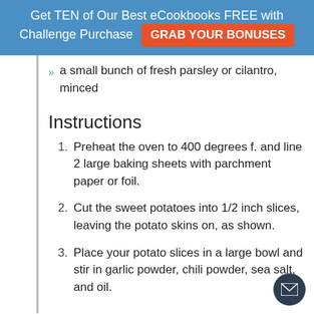Get TEN of Our Best eCookbooks FREE with Challenge Purchase  GRAB YOUR BONUSES
a small bunch of fresh parsley or cilantro, minced
Instructions
1. Preheat the oven to 400 degrees f. and line 2 large baking sheets with parchment paper or foil.
2. Cut the sweet potatoes into 1/2 inch slices, leaving the potato skins on, as shown.
3. Place your potato slices in a large bowl and stir in garlic powder, chili powder, sea salt, and oil.